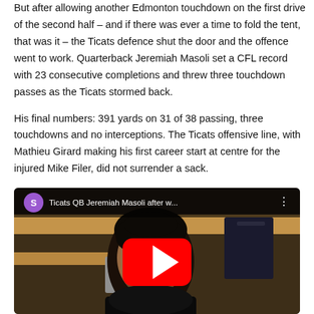But after allowing another Edmonton touchdown on the first drive of the second half – and if there was ever a time to fold the tent, that was it – the Ticats defence shut the door and the offence went to work. Quarterback Jeremiah Masoli set a CFL record with 23 consecutive completions and threw three touchdown passes as the Ticats stormed back.
His final numbers: 391 yards on 31 of 38 passing, three touchdowns and no interceptions. The Ticats offensive line, with Mathieu Girard making his first career start at centre for the injured Mike Filer, did not surrender a sack.
[Figure (screenshot): YouTube video thumbnail showing Ticats QB Jeremiah Masoli after win, with purple circle avatar with 'S', video title 'Ticats QB Jeremiah Masoli after w...' and red YouTube play button overlay. Video shows Masoli speaking in a locker room setting.]